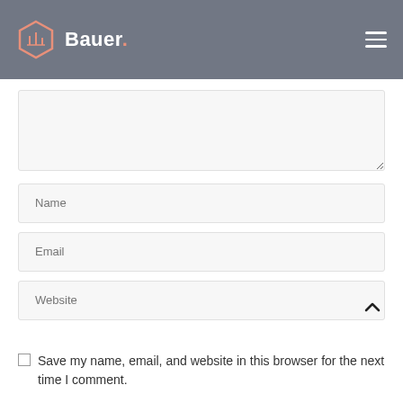Bauer.
[Figure (screenshot): Website comment form with textarea, Name, Email, Website fields and a checkbox for saving info]
Save my name, email, and website in this browser for the next time I comment.